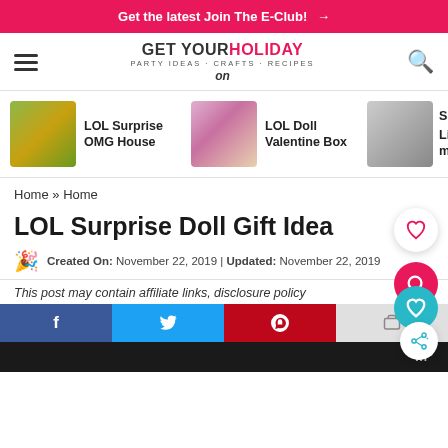Get the latest Join The E-Club! →
[Figure (logo): Get Your Holiday On logo with party ideas, crafts, recipes tagline]
[Figure (photo): Carousel with LOL Surprise OMG House, LOL Doll Valentine Box, and a third partially visible item]
Home » Home
LOL Surprise Doll Gift Idea
Created On: November 22, 2019 | Updated: November 22, 2019
This post may contain affiliate links, disclosure policy